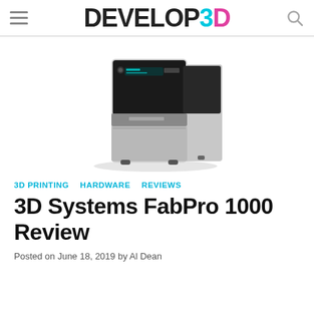DEVELOP3D
[Figure (photo): 3D Systems FabPro 1000 3D printer — a compact desktop unit with a black top panel featuring a small display screen and logo, and a silver/grey lower body, photographed on a white background at a three-quarter angle.]
3D PRINTING
HARDWARE
REVIEWS
3D Systems FabPro 1000 Review
Posted on June 18, 2019 by Al Dean